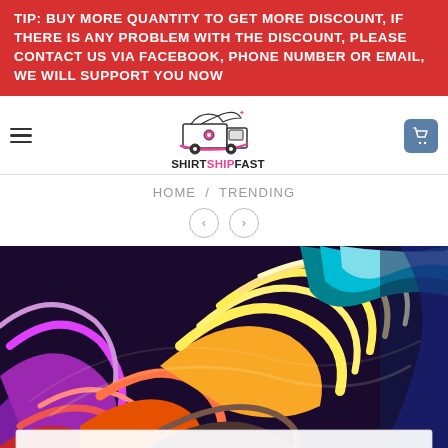TIP: BUY MORE QUANTITY TO GET MORE DISCOUNT, IF THERE IS ANY PROBLEM WITH THE DISCOUNT, PLEASE CONTACT US VIA FACEBOOK, PHONE NUMBER OR EMAIL, WE WILL SUPPORT YOU NOW
[Figure (logo): ShirtShipFast logo with a delivery truck with wings and the brand name SHIRTSHIPFAST below]
HOME / TRENDING
[Figure (illustration): Colorful swirling paint strokes in red, yellow, purple, blue and orange abstract art]